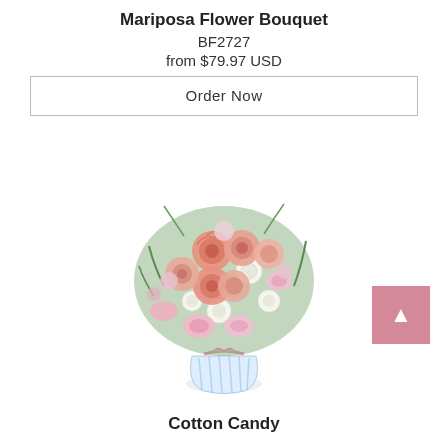Mariposa Flower Bouquet
BF2727
from $79.97 USD
Order Now
[Figure (photo): A lush flower bouquet arrangement featuring pink roses, white button mums, pink carnations, and greenery in a glass vase with a striped ribbon and pink bow tied around it.]
Cotton Candy